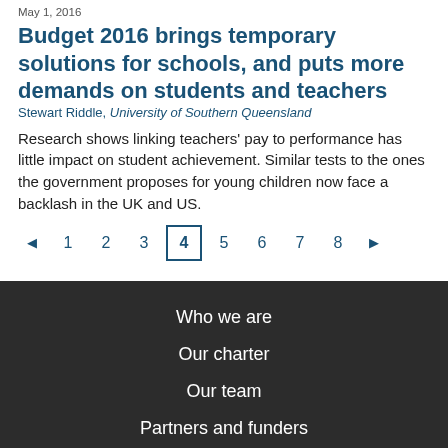May 1, 2016
Budget 2016 brings temporary solutions for schools, and puts more demands on students and teachers
Stewart Riddle, University of Southern Queensland
Research shows linking teachers' pay to performance has little impact on student achievement. Similar tests to the ones the government proposes for young children now face a backlash in the UK and US.
◄ 1 2 3 4 5 6 7 8 ►
Who we are
Our charter
Our team
Partners and funders
Resource for media
Contact us
En Español